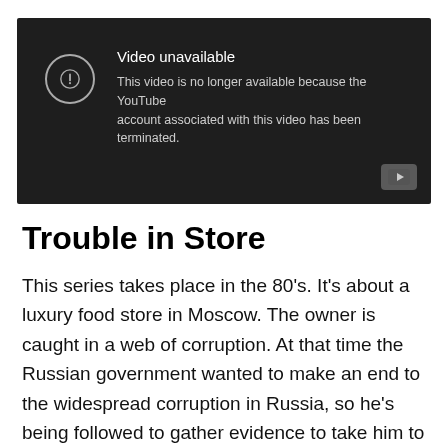[Figure (screenshot): YouTube 'Video unavailable' error screen on dark background. Shows a circle with exclamation mark icon and text: 'Video unavailable — This video is no longer available because the YouTube account associated with this video has been terminated.' YouTube play button logo in bottom right corner.]
Trouble in Store
This series takes place in the 80's. It's about a luxury food store in Moscow. The owner is caught in a web of corruption. At that time the Russian government wanted to make an end to the widespread corruption in Russia, so he's being followed to gather evidence to take him to trial.